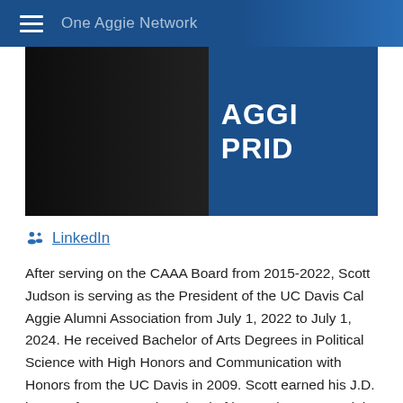One Aggie Network
[Figure (photo): A person in a dark suit with arms crossed, standing in front of a blue sign that reads 'AGGI PRID' (partially visible)]
LinkedIn
After serving on the CAAA Board from 2015-2022, Scott Judson is serving as the President of the UC Davis Cal Aggie Alumni Association from July 1, 2022 to July 1, 2024. He received Bachelor of Arts Degrees in Political Science with High Honors and Communication with Honors from the UC Davis in 2009. Scott earned his J.D. in 2012 from UC Davis School of law and was named the